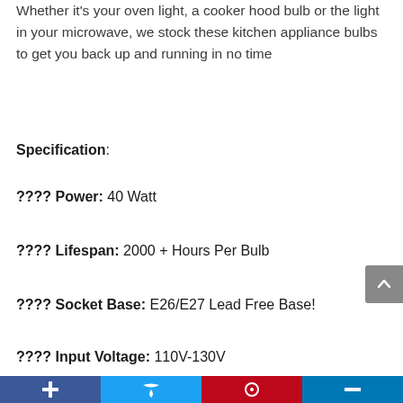Whether it's your oven light, a cooker hood bulb or the light in your microwave, we stock these kitchen appliance bulbs to get you back up and running in no time
Specification:
???? Power: 40 Watt
???? Lifespan: 2000 + Hours Per Bulb
???? Socket Base: E26/E27 Lead Free Base!
???? Input Voltage: 110V-130V